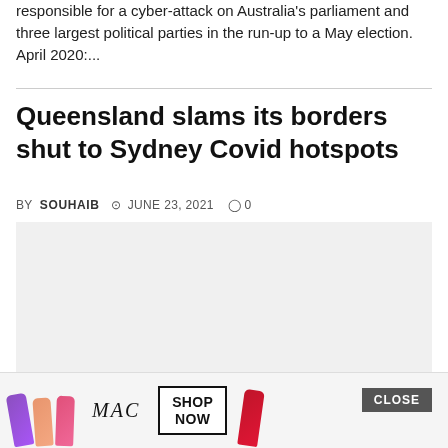responsible for a cyber-attack on Australia's parliament and three largest political parties in the run-up to a May election. April 2020:...
Queensland slams its borders shut to Sydney Covid hotspots
BY SOUHAIB  JUNE 23, 2021  0
[Figure (photo): Large light grey image placeholder for article photo]
Queensland slams its borders shut to Sydney hotsp... South W... ms borders... one
[Figure (advertisement): MAC cosmetics advertisement with lipsticks and SHOP NOW button]